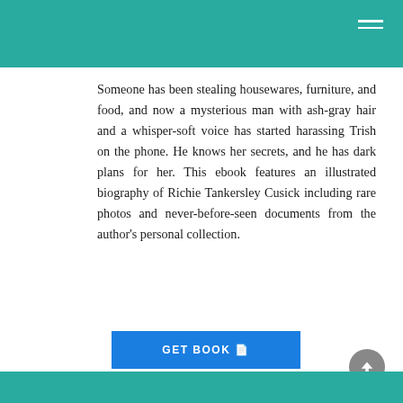Someone has been stealing housewares, furniture, and food, and now a mysterious man with ash-gray hair and a whisper-soft voice has started harassing Trish on the phone. He knows her secrets, and he has dark plans for her. This ebook features an illustrated biography of Richie Tankersley Cusick including rare photos and never-before-seen documents from the author's personal collection.
[Figure (other): GET BOOK button with document icon]